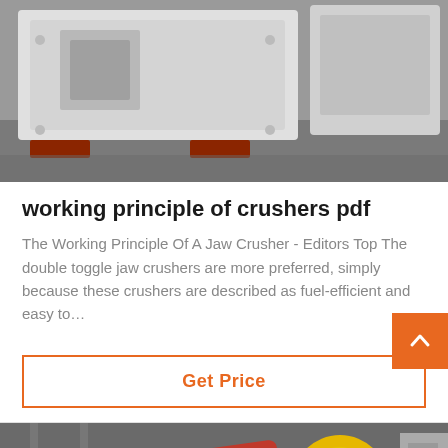[Figure (photo): Industrial crusher machine in white/grey color on a factory floor, viewed from the side, showing the heavy metal frame and components.]
working principle of crushers pdf
The Working Principle Of A Jaw Crusher - Editors Top The double toggle jaw crushers are more preferred, simply because these crushers are described as fuel-efficient and easy to…
Get Price
[Figure (photo): Industrial machinery in a factory setting, showing a large yellow circular component and red mechanical arm.]
Leave Message
Chat Online